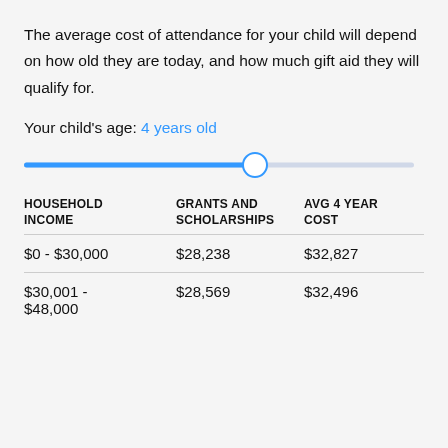The average cost of attendance for your child will depend on how old they are today, and how much gift aid they will qualify for.
Your child's age: 4 years old
[Figure (other): A horizontal slider control showing a child's age. The track is filled blue from the left up to a circular white thumb handle positioned at approximately 4 years old, with remaining track in light blue-grey.]
| HOUSEHOLD INCOME | GRANTS AND SCHOLARSHIPS | AVG 4 YEAR COST |
| --- | --- | --- |
| $0 - $30,000 | $28,238 | $32,827 |
| $30,001 - $48,000 | $28,569 | $32,496 |